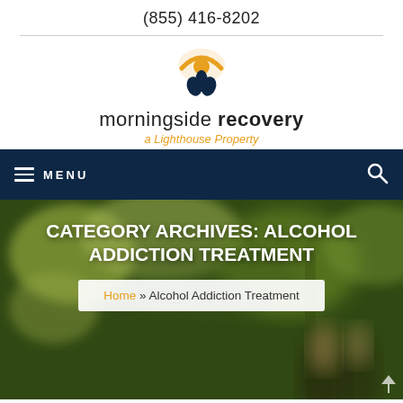(855) 416-8202
[Figure (logo): Morningside Recovery logo: sun arc with leaf/flower in dark blue, text 'morningside recovery — a Lighthouse Property']
MENU
CATEGORY ARCHIVES: ALCOHOL ADDICTION TREATMENT
Home » Alcohol Addiction Treatment
[Figure (photo): Outdoor background photo showing blurred green trees and two people with long hair seen from behind]